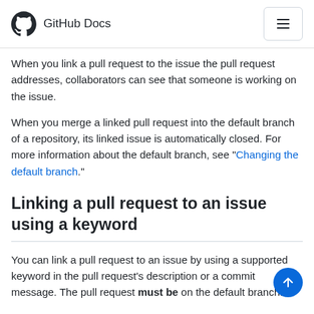GitHub Docs
When you link a pull request to the issue the pull request addresses, collaborators can see that someone is working on the issue.
When you merge a linked pull request into the default branch of a repository, its linked issue is automatically closed. For more information about the default branch, see "Changing the default branch."
Linking a pull request to an issue using a keyword
You can link a pull request to an issue by using a supported keyword in the pull request's description or a commit message. The pull request must be on the default branch.